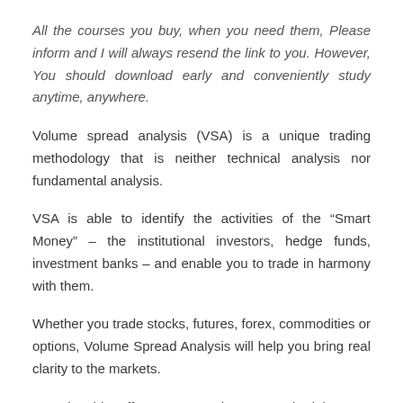All the courses you buy, when you need them, Please inform and I will always resend the link to you. However, You should download early and conveniently study anytime, anywhere.
Volume spread analysis (VSA) is a unique trading methodology that is neither technical analysis nor fundamental analysis.
VSA is able to identify the activities of the “Smart Money” – the institutional investors, hedge funds, investment banks – and enable you to trade in harmony with them.
Whether you trade stocks, futures, forex, commodities or options, Volume Spread Analysis will help you bring real clarity to the markets.
Tradeguider offers access to the VSA methodology